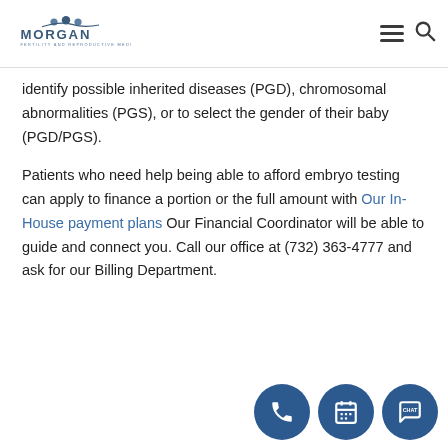Morgan Fertility and Reproductive Medicine
identify possible inherited diseases (PGD), chromosomal abnormalities (PGS), or to select the gender of their baby (PGD/PGS).
Patients who need help being able to afford embryo testing can apply to finance a portion or the full amount with Our In-House payment plans Our Financial Coordinator will be able to guide and connect you. Call our office at (732) 363-4777 and ask for our Billing Department.